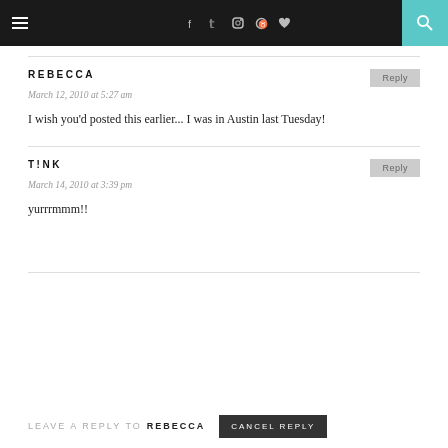≡   f  twitter  instagram  pinterest  heart  [search]
REBECCA
March 12, 2010 at 5:27 am
I wish you'd posted this earlier... I was in Austin last Tuesday!
T!NK
March 14, 2010 at 3:39 pm
yurrrmmm!!
LEAVE A REPLY TO REBECCA  CANCEL REPLY